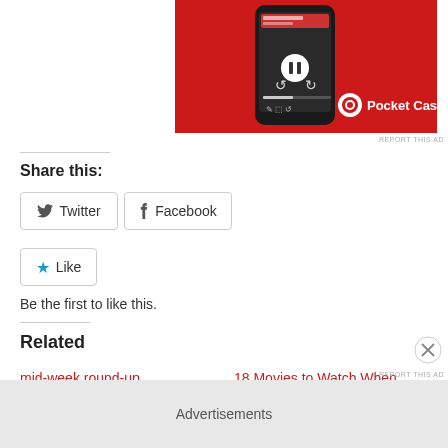[Figure (photo): Pocket Casts app advertisement showing a smartphone with the app interface on a red background with the Pocket Casts logo]
REPORT THIS AD
Share this:
Twitter
Facebook
Like
Be the first to like this.
Related
mid-week round-up
18 Movies to Watch When
Advertisements
REPORT THIS AD